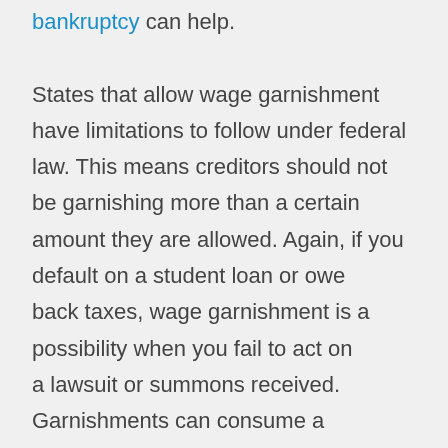bankruptcy can help. States that allow wage garnishment have limitations to follow under federal law. This means creditors should not be garnishing more than a certain amount they are allowed. Again, if you default on a student loan or owe back taxes, wage garnishment is a possibility when you fail to act on a lawsuit or summons received. Garnishments can consume a considerable amount of your income depending on the reason behind it. Up to 50 percent of disposable income in Texas, for example, may be garnished for child support obligations.